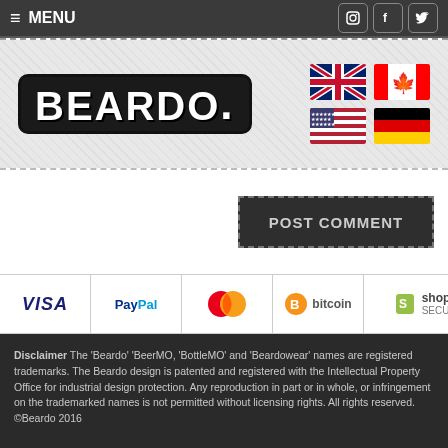≡ MENU
[Figure (logo): Beardo logo with bold white text on black rounded rectangle background]
[Figure (illustration): Four country flags: UK, Canada, USA, Germany]
POST COMMENT
[Figure (illustration): Payment method icons: VISA, PayPal, MasterCard, Bitcoin, Shopify Secure]
Disclaimer The 'Beardo' 'BeerMO, 'BottleMO' and 'Beardowear' names are registered trademarks. The Beardo design is patented and registered with the Intellectual Property Office for industrial design protection. Any reproduction in part or in whole, or infringement on the trademarked names is not permitted without licensing rights. All rights reserved. ©Beardo 2016